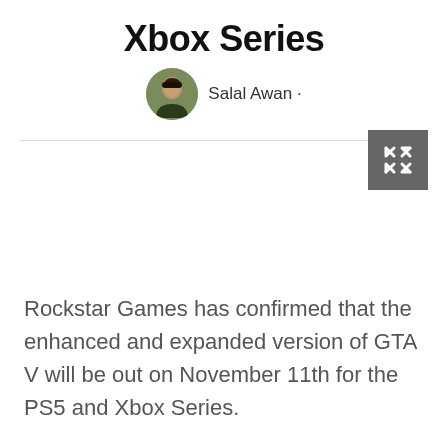Xbox Series
Salal Awan ·
[Figure (other): Expand/fullscreen button icon with arrows pointing outward, dark gray square background]
Rockstar Games has confirmed that the enhanced and expanded version of GTA V will be out on November 11th for the PS5 and Xbox Series.